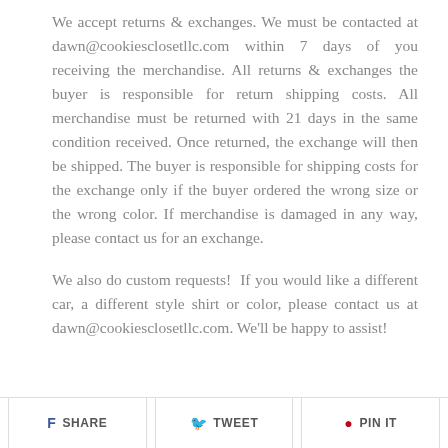We accept returns & exchanges. We must be contacted at dawn@cookiesclosetllc.com within 7 days of you receiving the merchandise. All returns & exchanges the buyer is responsible for return shipping costs. All merchandise must be returned with 21 days in the same condition received. Once returned, the exchange will then be shipped. The buyer is responsible for shipping costs for the exchange only if the buyer ordered the wrong size or the wrong color. If merchandise is damaged in any way, please contact us for an exchange.
We also do custom requests!  If you would like a different car, a different style shirt or color, please contact us at dawn@cookiesclosetllc.com. We'll be happy to assist!
SHARE   TWEET   PIN IT